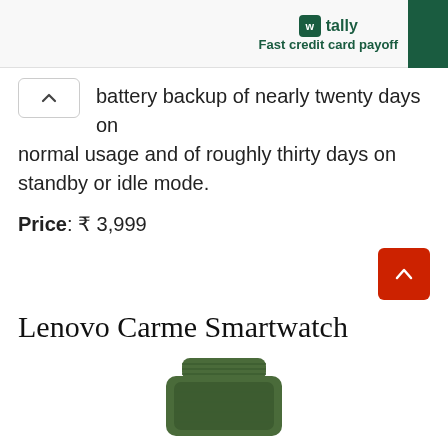tally Fast credit card payoff
battery backup of nearly twenty days on normal usage and of roughly thirty days on standby or idle mode.
Price: ₹ 3,999
Lenovo Carme Smartwatch
[Figure (photo): Green Lenovo Carme Smartwatch band/body, partial view from top]